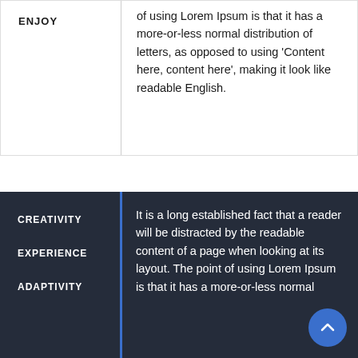ENJOY
of using Lorem Ipsum is that it has a more-or-less normal distribution of letters, as opposed to using ‘Content here, content here’, making it look like readable English.
CREATIVITY
EXPERIENCE
ADAPTIVITY
It is a long established fact that a reader will be distracted by the readable content of a page when looking at its layout. The point of using Lorem Ipsum is that it has a more-or-less normal